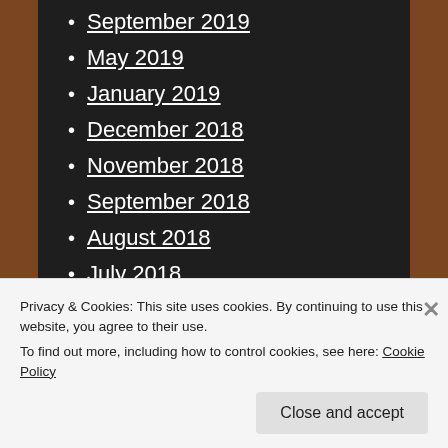September 2019
May 2019
January 2019
December 2018
November 2018
September 2018
August 2018
July 2018
May 2018
April 2018
March 2018
February 2018
Privacy & Cookies: This site uses cookies. By continuing to use this website, you agree to their use.
To find out more, including how to control cookies, see here: Cookie Policy